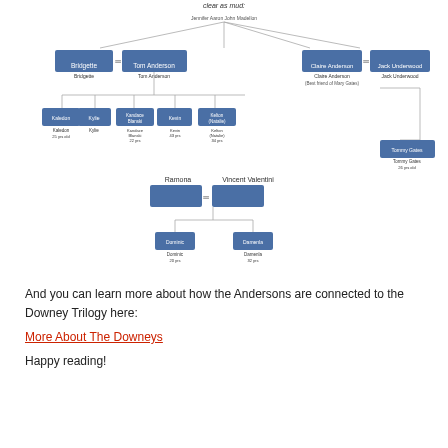[Figure (organizational-chart): Family tree / organizational chart showing Anderson family connections. Top level has multiple names (Jennifer, Aaron, John, Madellon) branching down. Left branch: Bridgette = Tom Anderson with children Kaledon, Kylie, Kandace Blareksi 22 yrs, Kevin 43 yrs, Kelton (Natalie) 34 yrs. Right branch: Claire Anderson = Jack Underwood, (Best friend of Mary Gates), with child Tommy Gates 26 yrs old. Middle lower section: Ramona = Vincent Valentini with children Dominic 20 yrs and Damenla 32 yrs.]
And you can learn more about how the Andersons are connected to the Downey Trilogy here:
More About The Downeys
Happy reading!